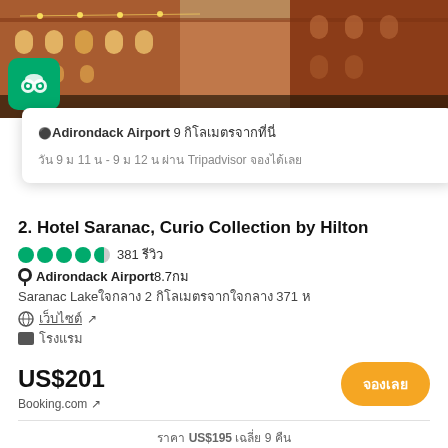[Figure (photo): Hotel building exterior with brick facade and arched windows, string lights, outdoor evening scene]
⚫Adirondack Airport 9 กิโลเมตรจากที่นี่
วัน 9 ม 11 น - 9 ม 12 น ผ่าน Tripadvisor จองได้เลย
2. Hotel Saranac, Curio Collection by Hilton
381 รีวิว
⚫Adirondack Airport8.7กม
Saranac Lakeใจกลาง 2 กิโลเมตรจากใจกลาง 371 ห
เว็บไซต์ ↗
⬛ โรงแรม
US$201
Booking.com ↗
จองเลย
ราคา US$195 เฉลี่ย 9 คืน
[Figure (photo): Outdoor pool or lakeside area with people relaxing, umbrella, waterfront view]